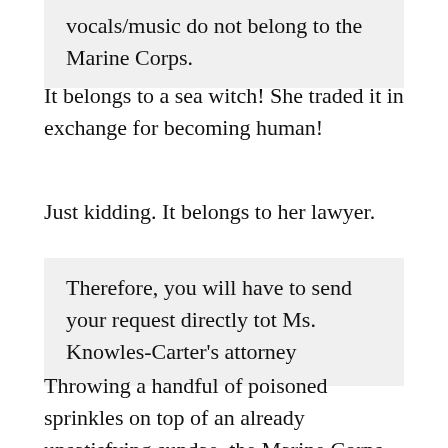vocals/music do not belong to the Marine Corps.
It belongs to a sea witch! She traded it in exchange for becoming human!
Just kidding. It belongs to her lawyer.
Therefore, you will have to send your request directly tot Ms. Knowles-Carter's attorney
Throwing a handful of poisoned sprinkles on top of an already unsatisfying sundae, the Marine Corps also cautioned MuckRock that, although the sound of the Marine Corps band is in the public domain, some of the musical selections themselves (like everyone's favorite